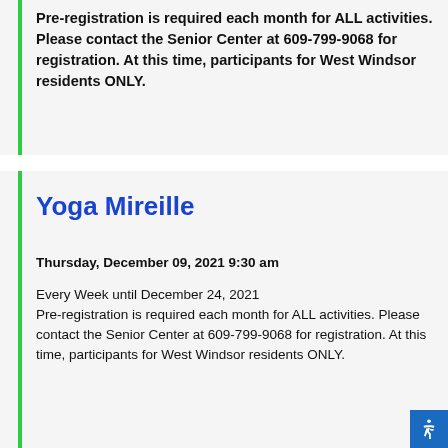Pre-registration is required each month for ALL activities. Please contact the Senior Center at 609-799-9068 for registration. At this time, participants for West Windsor residents ONLY.
Yoga Mireille
Thursday, December 09, 2021 9:30 am
Every Week until December 24, 2021
Pre-registration is required each month for ALL activities. Please contact the Senior Center at 609-799-9068 for registration. At this time, participants for West Windsor residents ONLY.